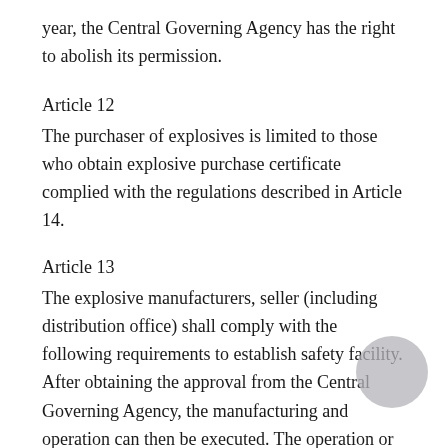year, the Central Governing Agency has the right to abolish its permission.
Article 12
The purchaser of explosives is limited to those who obtain explosive purchase certificate complied with the regulations described in Article 14.
Article 13
The explosive manufacturers, seller (including distribution office) shall comply with the following requirements to establish safety facility. After obtaining the approval from the Central Governing Agency, the manufacturing and operation can then be executed. The operation or opening date shall be reported to the Central Governing Agency, Municipal Government at MunicipalCity under the direct jurisdiction of the Central Government and County and City Government at